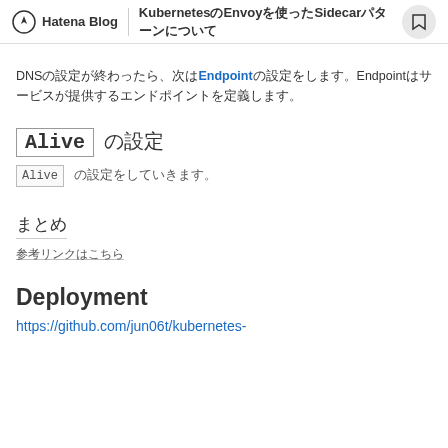Hatena Blog | KubernetesのEnvoyを使ったSidecarパターンについて
DNSの設定が終わったら、次はEndpointの設定をします。Endpointはサービスが提供するエンドポイントを定義します。
Alive 設定
Alive の設定をしていきます。
まとめ
参考リンクはこちら
Deployment
https://github.com/jun06t/kubernetes-